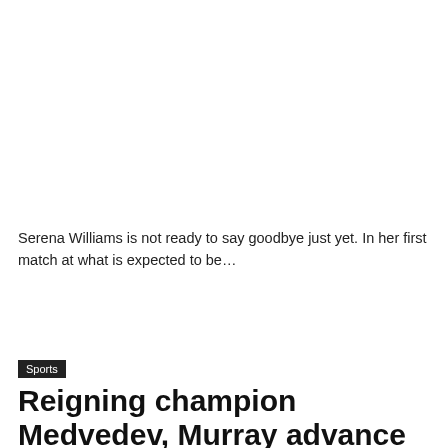Serena Williams is not ready to say goodbye just yet. In her first match at what is expected to be…
Read More »
Sports
Reigning champion Medvedev, Murray advance to second round at U.S. Open